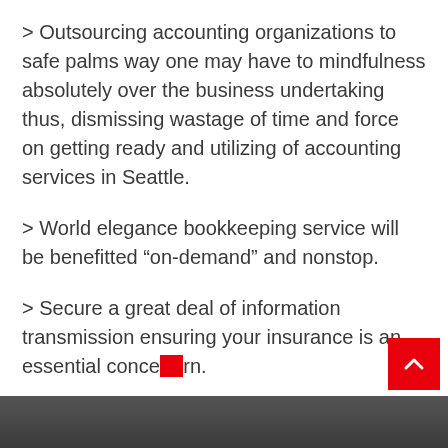> Outsourcing accounting organizations to safe palms way one may have to mindfulness absolutely over the business undertaking thus, dismissing wastage of time and force on getting ready and utilizing of accounting services in Seattle.
> World elegance bookkeeping service will be benefitted “on-demand” and nonstop.
> Secure a great deal of information transmission ensuring your insurance is an essential concern.
[Figure (photo): Bottom strip showing a partial photo of a person]